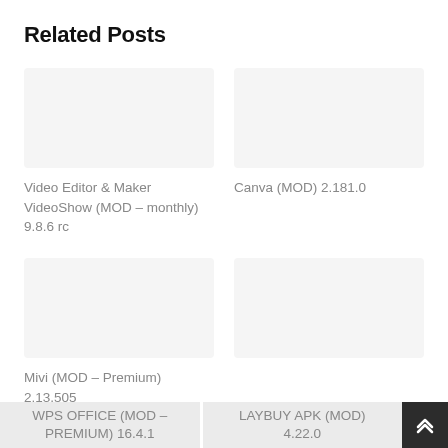Related Posts
Video Editor & Maker VideoShow (MOD – monthly) 9.8.6 rc
Canva (MOD) 2.181.0
Mivi (MOD – Premium) 2.13.505
WPS OFFICE (MOD – PREMIUM) 16.4.1
LAYBUY APK (MOD) 4.22.0